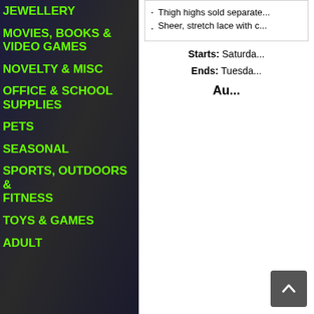JEWELLERY
MOVIES, BOOKS & VIDEO GAMES
NOVELTY & MISC
OFFICE & SCHOOL SUPPLIES
PETS
SEASONAL
SPORTS, OUTDOORS & FITNESS
TOYS & GAMES
ADULT
Thigh highs sold separate...
Sheer, stretch lace with c...
Starts: Saturda...
Ends: Tuesda...
Au...